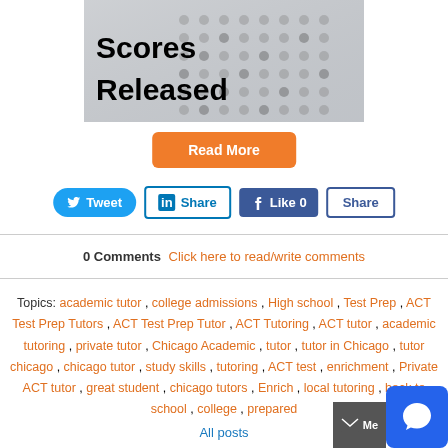[Figure (photo): Scanned test answer sheet with text overlay reading 'Scores Released' in bold black font]
Read More
Tweet  Share  Like 0  Share
0 Comments  Click here to read/write comments
Topics: academic tutor , college admissions , High school , Test Prep , ACT Test Prep Tutors , ACT Test Prep Tutor , ACT Tutoring , ACT tutor , academic tutoring , private tutor , Chicago Academic , tutor , tutor in Chicago , tutor chicago , chicago tutor , study skills , tutoring , ACT test , enrichment , Private ACT tutor , great student , chicago tutors , Enrich , local tutoring , back to school , college , prepared
All posts